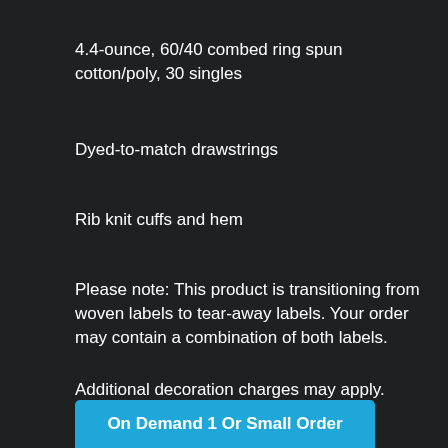4.4-ounce, 60/40 combed ring spun cotton/poly, 30 singles
Dyed-to-match drawstrings
Rib knit cuffs and hem
Please note: This product is transitioning from woven labels to tear-away labels. Your order may contain a combination of both labels.
Additional decoration charges may apply.
On Demand 1 Or Small Order